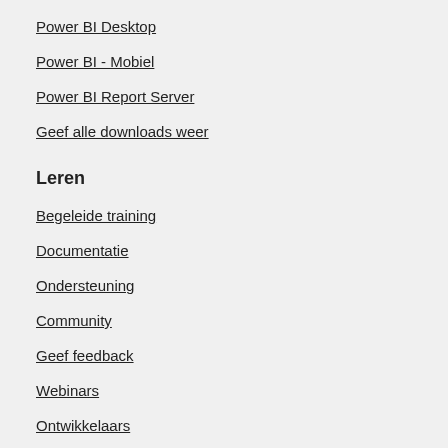Power BI Desktop
Power BI - Mobiel
Power BI Report Server
Geef alle downloads weer
Leren
Begeleide training
Documentatie
Ondersteuning
Community
Geef feedback
Webinars
Ontwikkelaars
Blog